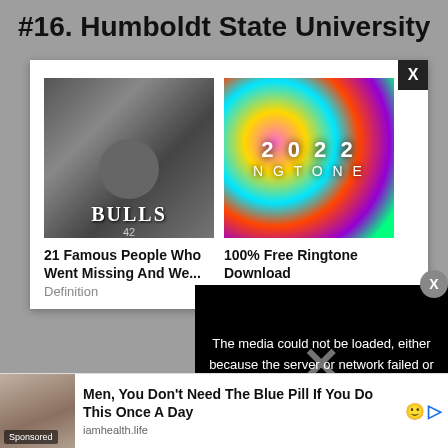#16. Humboldt State University
[Figure (screenshot): Advertisement modal with two ad units: left shows black-and-white photo of basketball player in Bulls jersey with caption '21 Famous People Who Went Missing And We...' from Definition; right shows colorful abstract image with '2022 NGTONE' text and caption '100% Free Ringtone Download' from Appurse. Close X button in top-right corner.]
[Figure (screenshot): Video error overlay on black background with white text: 'The media could not be loaded, either because the server or network failed or because the format is not supported.' with an X icon overlay.]
[Figure (screenshot): Bottom advertisement banner: sponsored ad with woman's photo, text 'Men, You Don't Need The Blue Pill If You Do This Once A Day' from iamhealth.life, with Sponsored label.]
Hum... and an ac...